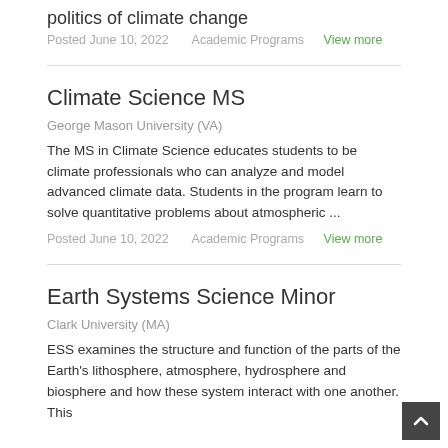politics of climate change
Posted June 10, 2022   Academic Programs   View more
Climate Science MS
George Mason University (VA)
The MS in Climate Science educates students to be climate professionals who can analyze and model advanced climate data. Students in the program learn to solve quantitative problems about atmospheric ...
Posted June 10, 2022   Academic Programs   View more
Earth Systems Science Minor
Clark University (MA)
ESS examines the structure and function of the parts of the Earth's lithosphere, atmosphere, hydrosphere and biosphere and how these system interact with one another. This